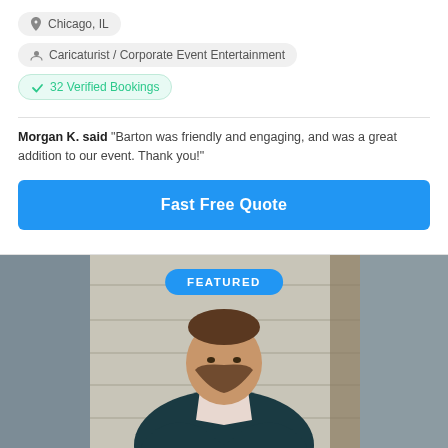Chicago, IL
Caricaturist / Corporate Event Entertainment
32 Verified Bookings
Morgan K. said "Barton was friendly and engaging, and was a great addition to our event. Thank you!"
Fast Free Quote
[Figure (photo): Professional headshot of a bearded man in a dark suit jacket, sitting casually with hands clasped, with a wooden background. A blue 'FEATURED' badge is overlaid at the top center.]